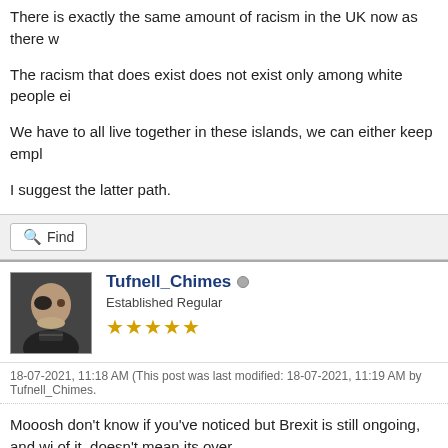There is exactly the same amount of racism in the UK now as there w
The racism that does exist does not exist only among white people ei
We have to all live together in these islands, we can either keep empl
I suggest the latter path.
Find
Tufnell_Chimes
Established Regular
★★★★★
18-07-2021, 11:18 AM (This post was last modified: 18-07-2021, 11:19 AM by Tufnell_Chimes.
Mooosh don't know if you've noticed but Brexit is still ongoing, and wi of it, doesn't mean its over.
Find
« Next Oldest | Next Newest »